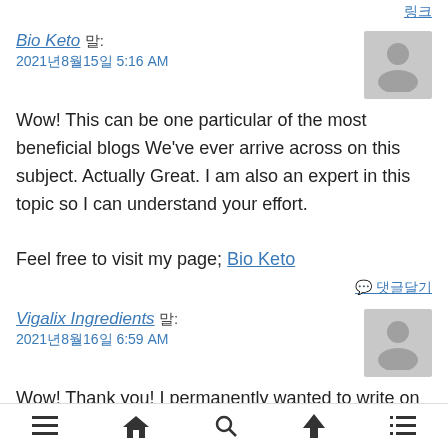Bio Keto 말:
2021년8월15일 5:16 AM
Wow! This can be one particular of the most beneficial blogs We've ever arrive across on this subject. Actually Great. I am also an expert in this topic so I can understand your effort.

Feel free to visit my page; Bio Keto
♡ 댓글달기
Vigalix Ingredients 말:
2021년8월16일 6:59 AM
Wow! Thank you! I permanently wanted to write on my site
≡  🏠  🔍  ↑  ≡